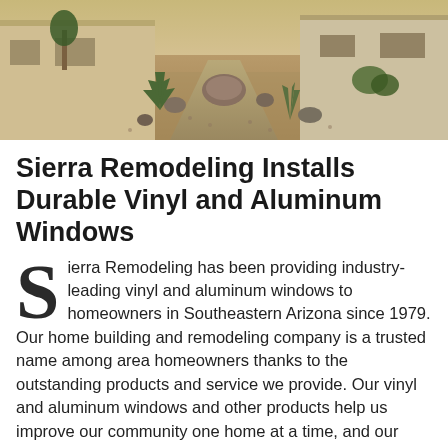[Figure (photo): Exterior photo of a Southwestern-style home with desert landscaping, rocks, agave plants, and a paved walkway]
Sierra Remodeling Installs Durable Vinyl and Aluminum Windows
Sierra Remodeling has been providing industry-leading vinyl and aluminum windows to homeowners in Southeastern Arizona since 1979. Our home building and remodeling company is a trusted name among area homeowners thanks to the outstanding products and service we provide. Our vinyl and aluminum windows and other products help us improve our community one home at a time, and our commitment to providing excellent craftsmanship and customer service has earned us numerous awards and accolades – including an A+ rating with the Better Business